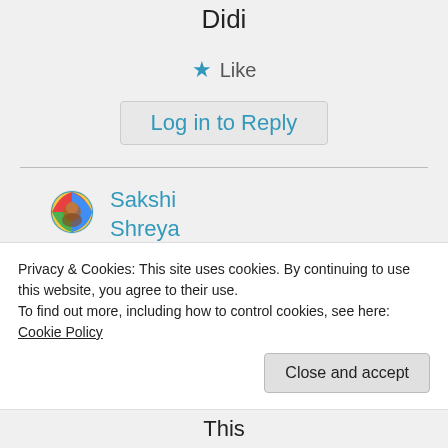Didi
★ Like
Log in to Reply
[Figure (photo): Circular avatar photo of Sakshi Shreya, colorful portrait]
Sakshi Shreya on 05/10/2020 at 06:29
Privacy & Cookies: This site uses cookies. By continuing to use this website, you agree to their use.
To find out more, including how to control cookies, see here: Cookie Policy
Close and accept
This